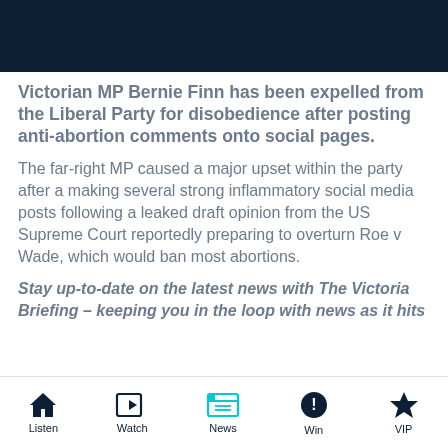Victorian MP Bernie Finn has been expelled from the Liberal Party for disobedience after posting anti-abortion comments onto social pages.
The far-right MP caused a major upset within the party after a making several strong inflammatory social media posts following a leaked draft opinion from the US Supreme Court reportedly preparing to overturn Roe v Wade, which would ban most abortions.
Stay up-to-date on the latest news with The Victoria Briefing - keeping you in the loop with news as it hits
Listen | Watch | News | Win | VIP